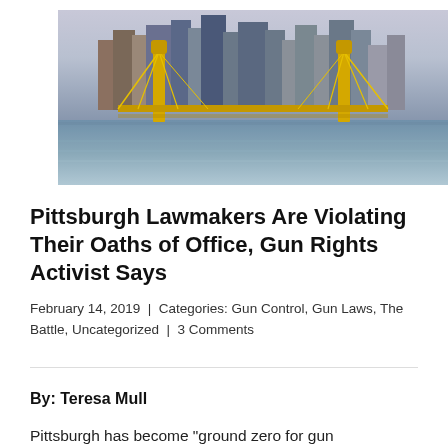[Figure (photo): Aerial/waterfront view of Pittsburgh skyline featuring yellow bridge (Roberto Clemente Bridge) over a river, with city skyscrapers in the background under a cloudy sky.]
Pittsburgh Lawmakers Are Violating Their Oaths of Office, Gun Rights Activist Says
February 14, 2019  |  Categories: Gun Control, Gun Laws, The Battle, Uncategorized  |  3 Comments
By: Teresa Mull
Pittsburgh has become "ground zero for gun